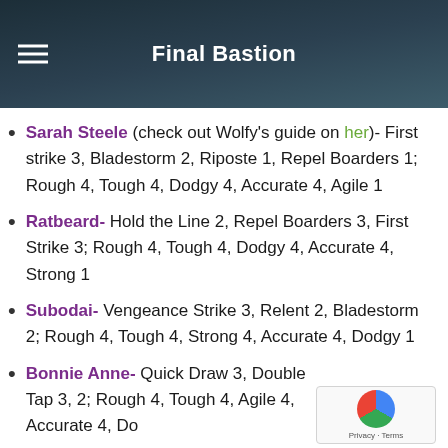Final Bastion
Sarah Steele (check out Wolfy's guide on her)- First strike 3, Bladestorm 2, Riposte 1, Repel Boarders 1; Rough 4, Tough 4, Dodgy 4, Accurate 4, Agile 1
Ratbeard- Hold the Line 2, Repel Boarders 3, First Strike 3; Rough 4, Tough 4, Dodgy 4, Accurate 4, Strong 1
Subodai- Vengeance Strike 3, Relent 2, Bladestorm 2; Rough 4, Tough 4, Strong 4, Accurate 4, Dodgy 1
Bonnie Anne- Quick Draw 3, Double Tap 3, 2; Rough 4, Tough 4, Agile 4, Accurate 4, Do...
Buffalo Bill- True Grit 2, Double Tap 2, Overwatch...